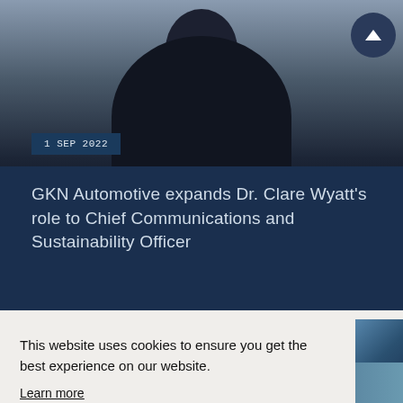[Figure (photo): Person wearing dark clothing photographed from shoulders up, against a light background. Dark navy banner overlay at bottom with date badge.]
1 SEP 2022
GKN Automotive expands Dr. Clare Wyatt’s role to Chief Communications and Sustainability Officer
This website uses cookies to ensure you get the best experience on our website.
Learn more
Got it!
[Figure (photo): Partial view of a second photo on the right side, appears to show an industrial or office environment.]
[Figure (photo): Bottom strip showing partial view of a person in what appears to be an industrial setting.]